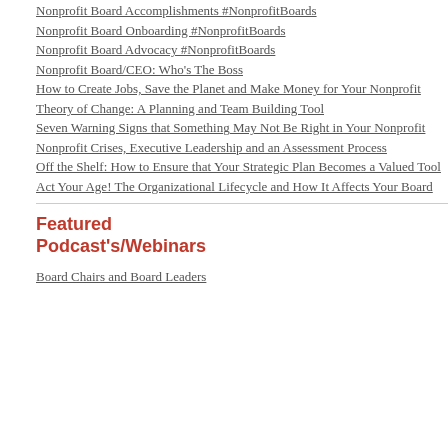Nonprofit Board Accomplishments #NonprofitBoards
Nonprofit Board Onboarding #NonprofitBoards
Nonprofit Board Advocacy #NonprofitBoards
Nonprofit Board/CEO: Who's The Boss
How to Create Jobs, Save the Planet and Make Money for Your Nonprofit
Theory of Change: A Planning and Team Building Tool
Seven Warning Signs that Something May Not Be Right in Your Nonprofit
Nonprofit Crises, Executive Leadership and an Assessment Process
Off the Shelf: How to Ensure that Your Strategic Plan Becomes a Valued Tool
Act Your Age! The Organizational Lifecycle and How It Affects Your Board
Featured Podcast's/Webinars
Board Chairs and Board Leaders
leader's passion or personal interests and you... to make an impact. Operate from the lens that... Georgia Education Collaborative
2. Show The Leader How Joining Benefits T...
While we clearly need the leader, what's more... We have to make it about them. - Gloria Hors...
MORE FROM FORBES
KPMG BRANDVOICE
The Fintech Playbook: What Financial...
UNICEF USA BRANDVOICE
Redesigning The Mongolian Ger To He...
Civic Nation BRANDVOICE
Let's Be Honest: My Story Of The Bea...
3. Bring Your 'A' Team
An influential leader is also a busy person. The... meeting with an influential leader to join your... will limit the number of meetings and shows t...
4. Set And Manage Expectations Up Front
Once you have a leader's ear, be respectful of... understand the fiduciary responsibility and...